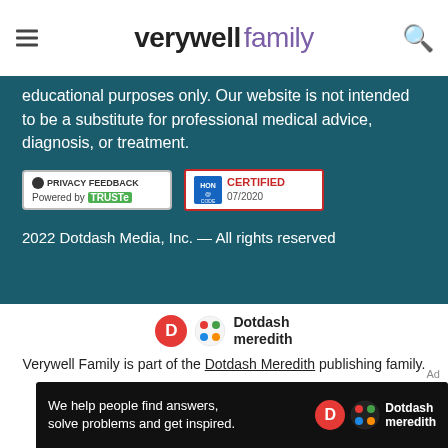verywell family
educational purposes only. Our website is not intended to be a substitute for professional medical advice, diagnosis, or treatment.
[Figure (logo): Privacy Feedback - Powered by TRUSTe badge and HON Code Certified 07/2020 badge]
2022 Dotdash Media, Inc. — All rights reserved
[Figure (logo): Dotdash Meredith logo with orange D circle and colorful meredith pattern icon]
Verywell Family is part of the Dotdash Meredith publishing family.
We've updated our Privacy Policy, which will go in to effect on September 1, 2022. Check it out here
[Figure (illustration): Dotdash Meredith advertisement banner: 'We help people find answers, solve problems and get inspired.' with Dotdash Meredith logo on dark background]